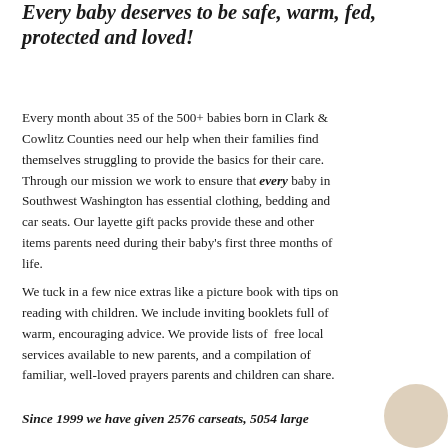Every baby deserves to be safe, warm, fed, protected and loved!
Every month about 35 of the 500+ babies born in Clark & Cowlitz Counties need our help when their families find themselves struggling to provide the basics for their care. Through our mission we work to ensure that every baby in Southwest Washington has essential clothing, bedding and car seats. Our layette gift packs provide these and other items parents need during their baby's first three months of life.
We tuck in a few nice extras like a picture book with tips on reading with children. We include inviting booklets full of warm, encouraging advice. We provide lists of free local services available to new parents, and a compilation of familiar, well-loved prayers parents and children can share.
Since 1999 we have given 2576 carseats, 5054 large